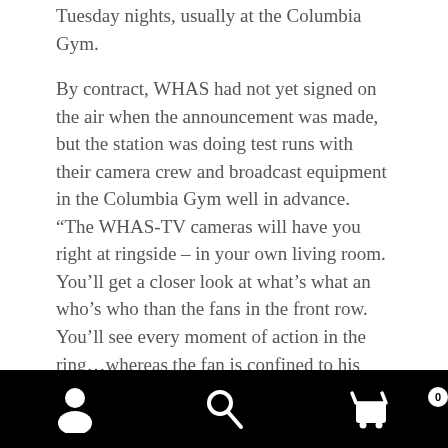Tuesday nights, usually at the Columbia Gym.
By contract, WHAS had not yet signed on the air when the announcement was made, but the station was doing test runs with their camera crew and broadcast equipment in the Columbia Gym well in advance. “The WHAS-TV cameras will have you right at ringside – in your own living room. You’ll get a closer look at what’s what an who’s who than the fans in the front row. You’ll see every moment of action in the ring…whereas the fan is confined to his seat, the camera can roam to every nook and corner.”
Wrestling was tailor-made for television, with all the action taking place in a well-lit, stationary ring, making it much easier to broadcast than sports like football and baseball. WHAS-TV had a two camera set up for the